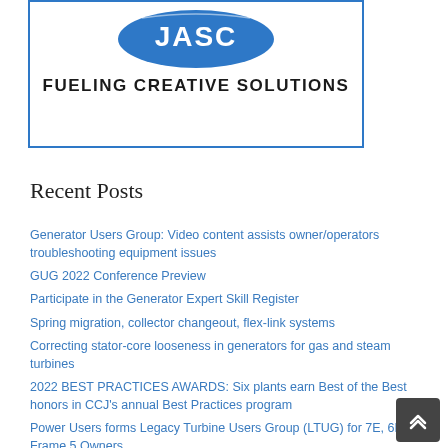[Figure (logo): JASC logo with blue ellipse and text 'FUELING CREATIVE SOLUTIONS' inside a blue-bordered box]
Recent Posts
Generator Users Group: Video content assists owner/operators troubleshooting equipment issues
GUG 2022 Conference Preview
Participate in the Generator Expert Skill Register
Spring migration, collector changeout, flex-link systems
Correcting stator-core looseness in generators for gas and steam turbines
2022 BEST PRACTICES AWARDS: Six plants earn Best of the Best honors in CCJ's annual Best Practices program
Power Users forms Legacy Turbine Users Group (LTUG) for 7E, 6B, and Frame 5 Owners